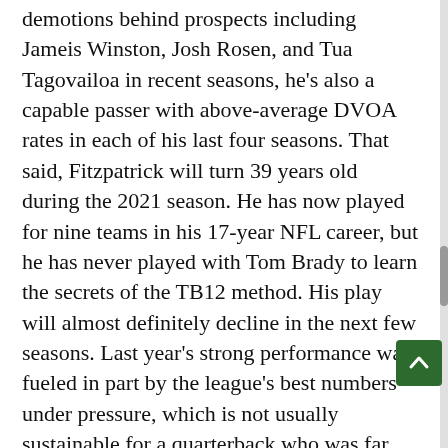demotions behind prospects including Jameis Winston, Josh Rosen, and Tua Tagovailoa in recent seasons, he's also a capable passer with above-average DVOA rates in each of his last four seasons. That said, Fitzpatrick will turn 39 years old during the 2021 season. He has now played for nine teams in his 17-year NFL career, but he has never played with Tom Brady to learn the secrets of the TB12 method. His play will almost definitely decline in the next few seasons. Last year's strong performance was fueled in part by the league's best numbers under pressure, which is not usually sustainable for a quarterback who was far from the best in the league when not pressured. And while backup Taylor Heinicke opened some eyes with a gutty playoff performance last season, the 28-year-old has just 121 career pass attempts and would rival Kurt Warner's rags-to-NFL-riches story if he went on to become a successful starting